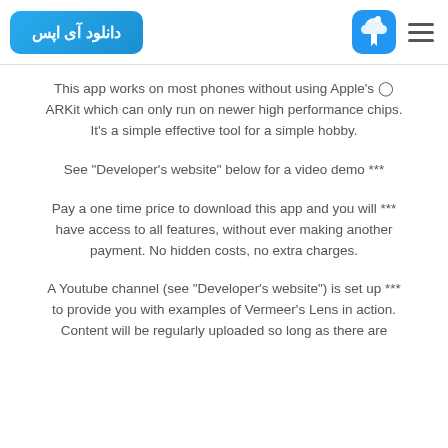دانلود آی اپس
This app works on most phones without using Apple's ARKit which can only run on newer high performance chips. It's a simple effective tool for a simple hobby.
See "Developer's website" below for a video demo ***
Pay a one time price to download this app and you will *** have access to all features, without ever making another payment. No hidden costs, no extra charges.
A Youtube channel (see "Developer's website") is set up *** to provide you with examples of Vermeer's Lens in action. Content will be regularly uploaded so long as there are